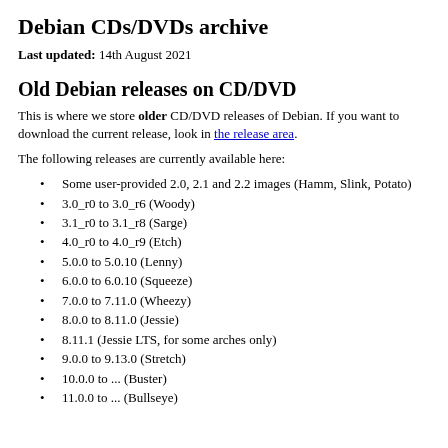Debian CDs/DVDs archive
Last updated: 14th August 2021
Old Debian releases on CD/DVD
This is where we store older CD/DVD releases of Debian. If you want to download the current release, look in the release area.
The following releases are currently available here:
Some user-provided 2.0, 2.1 and 2.2 images (Hamm, Slink, Potato)
3.0_r0 to 3.0_r6 (Woody)
3.1_r0 to 3.1_r8 (Sarge)
4.0_r0 to 4.0_r9 (Etch)
5.0.0 to 5.0.10 (Lenny)
6.0.0 to 6.0.10 (Squeeze)
7.0.0 to 7.11.0 (Wheezy)
8.0.0 to 8.11.0 (Jessie)
8.11.1 (Jessie LTS, for some arches only)
9.0.0 to 9.13.0 (Stretch)
10.0.0 to ... (Buster)
11.0.0 to ... (Bullseye)